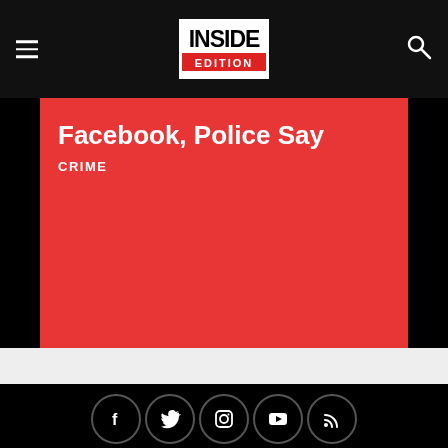INSIDE EDITION
Facebook, Police Say
CRIME
[Figure (infographic): Social media icons in circles: Facebook, Twitter, Instagram, YouTube, RSS]
ABOUT US
Meet the Team
Awards
Contact
CONNECT
Facebook